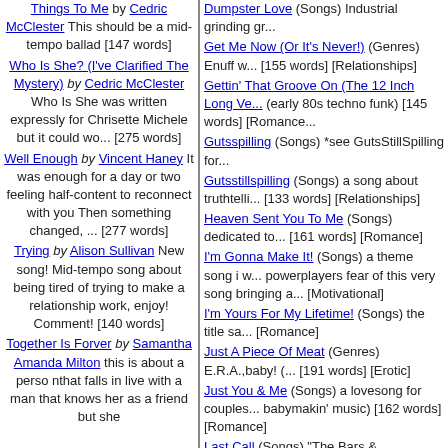Things To Me by Cedric McClester This should be a mid-tempo ballad [147 words]
Who Is She? (I've Clarified The Mystery) by Cedric McClester Who Is She was written expressly for Chrisette Michele but it could wo... [275 words]
Well Enough by Vincent Haney It was enough for a day or two feeling half-content to reconnect with you Then something changed, ... [277 words]
Trying by Alison Sullivan New song! Mid-tempo song about being tired of trying to make a relationship work, enjoy! Comment! [140 words]
Together Is Forver by Samantha Amanda Milton this is about a perso nthat falls in live with a man that knows her as a friend but she ... [140 words]
Dumpster Love (Songs) Industrial grinding gr...
Get Me Now (Or It's Never!) (Genres) Enuff w... [155 words] [Relationships]
Gettin' That Groove On (The 12 Inch Long Ve... (early 80s techno funk) [145 words] [Romance...
Gutsspilling (Songs) *see GutsStillSpilling for...
Gutsstillspilling (Songs) a song about truthtelli... [133 words] [Relationships]
Heaven Sent You To Me (Songs) dedicated to... [161 words] [Romance]
I'm Gonna Make It! (Songs) a theme song i w... powerplayers fear of this very song bringing a... [Motivational]
I'm Yours For My Lifetime! (Songs) the title sa... [Romance]
Just A Piece Of Meat (Genres) E.R.A.,baby! (... [191 words] [Erotic]
Just You & Me (Songs) a lovesong for couples... babymakin' music) [162 words] [Romance]
Last Call (Songs) "The Bars & NightClubs' Cl...
Let Down (Songs) a song about crushing a cr... [Romance]
Let's Live It Up! (Songs) a weekend song for d... words] [Relationships]
Little Jack Horny (Genres) Naughty nursery rh... [132 words] [Erotic]
Lonely,Lonely (Genres) a song about needing... r&b senioro groove) [151 words] [Psycholog...